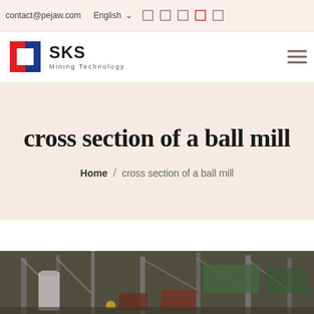contact@pejaw.com  English  ▾
[Figure (logo): SKS Mining Technology logo with red and blue angular S icon]
cross section of a ball mill
Home / cross section of a ball mill
[Figure (photo): Industrial facility interior showing ball mill equipment, yellow hard hat worker visible, structural steel framework, green tarpaulins]